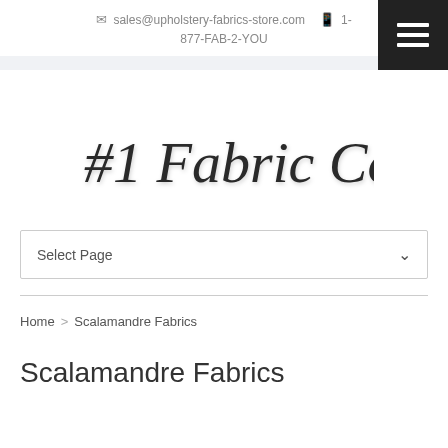✉ sales@upholstery-fabrics-store.com  📱 1-877-FAB-2-YOU
[Figure (logo): #1 Fabric Co. cursive script logo]
Select Page
Home > Scalamandre Fabrics
Scalamandre Fabrics